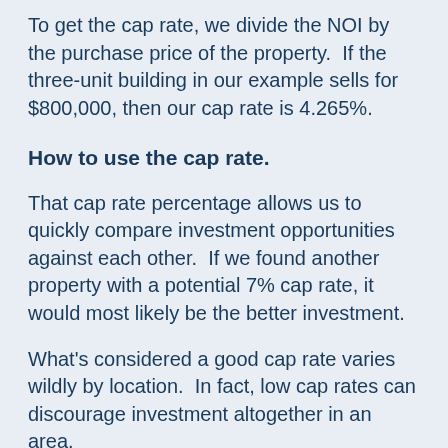To get the cap rate, we divide the NOI by the purchase price of the property.  If the three-unit building in our example sells for $800,000, then our cap rate is 4.265%.
How to use the cap rate.
That cap rate percentage allows us to quickly compare investment opportunities against each other.  If we found another property with a potential 7% cap rate, it would most likely be the better investment.
What's considered a good cap rate varies wildly by location.  In fact, low cap rates can discourage investment altogether in an area.